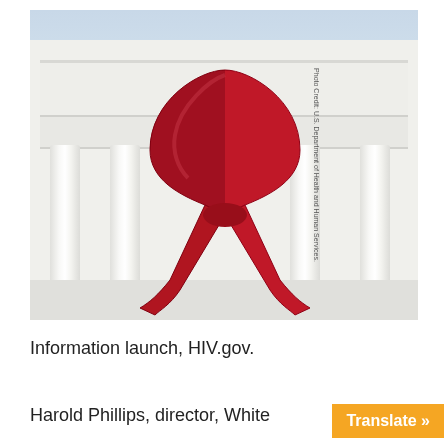[Figure (photo): Large red AIDS awareness ribbon hanging between white columns of the White House portico, with a light blue sky background. Photo credit: U.S. Department of Health and Human Services.]
Information launch, HIV.gov.
Harold Phillips, director, White Home